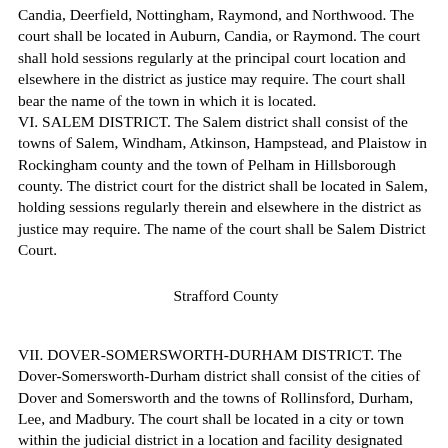Candia, Deerfield, Nottingham, Raymond, and Northwood. The court shall be located in Auburn, Candia, or Raymond. The court shall hold sessions regularly at the principal court location and elsewhere in the district as justice may require. The court shall bear the name of the town in which it is located. VI. SALEM DISTRICT. The Salem district shall consist of the towns of Salem, Windham, Atkinson, Hampstead, and Plaistow in Rockingham county and the town of Pelham in Hillsborough county. The district court for the district shall be located in Salem, holding sessions regularly therein and elsewhere in the district as justice may require. The name of the court shall be Salem District Court.
Strafford County
VII. DOVER-SOMERSWORTH-DURHAM DISTRICT. The Dover-Somersworth-Durham district shall consist of the cities of Dover and Somersworth and the towns of Rollinsford, Durham, Lee, and Madbury. The court shall be located in a city or town within the judicial district in a location and facility designated pursuant to RSA 490-B:3, having regard for the convenience of the communities within the district, provided, however, that the court shall not be located in any building which does not meet the minimum standard prescribed by the New Hampshire court